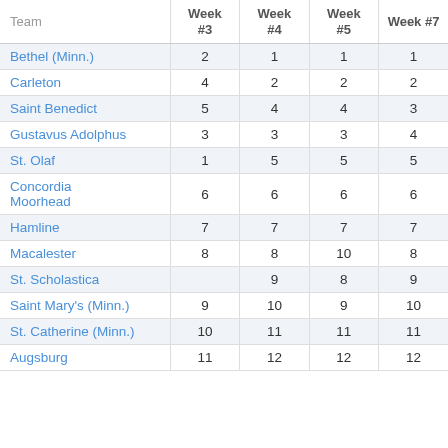| Team | Week #3 | Week #4 | Week #5 | Week #7 |
| --- | --- | --- | --- | --- |
| Bethel (Minn.) | 2 | 1 | 1 | 1 |
| Carleton | 4 | 2 | 2 | 2 |
| Saint Benedict | 5 | 4 | 4 | 3 |
| Gustavus Adolphus | 3 | 3 | 3 | 4 |
| St. Olaf | 1 | 5 | 5 | 5 |
| Concordia Moorhead | 6 | 6 | 6 | 6 |
| Hamline | 7 | 7 | 7 | 7 |
| Macalester | 8 | 8 | 10 | 8 |
| St. Scholastica |  | 9 | 8 | 9 |
| Saint Mary's (Minn.) | 9 | 10 | 9 | 10 |
| St. Catherine (Minn.) | 10 | 11 | 11 | 11 |
| Augsburg | 11 | 12 | 12 | 12 |